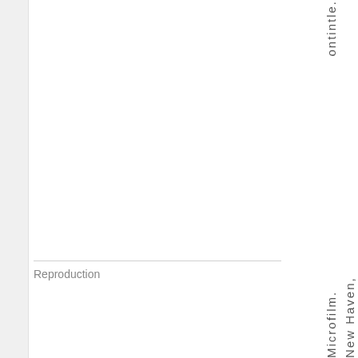ontintle.
Reproduction
Microfilm. New Haven, C